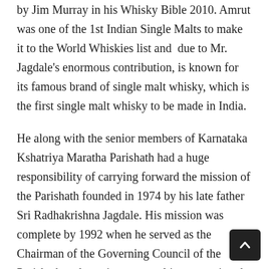by Jim Murray in his Whisky Bible 2010. Amrut was one of the 1st Indian Single Malts to make it to the World Whiskies list and  due to Mr. Jagdale's enormous contribution, is known for its famous brand of single malt whisky, which is the first single malt whisky to be made in India.
He along with the senior members of Karnataka Kshatriya Maratha Parishath had a huge responsibility of carrying forward the mission of the Parishath founded in 1974 by his late father Sri Radhakrishna Jagdale. His mission was complete by 1992 when he served as the Chairman of the Governing Council of the Parishath and was instrumental in structuring the Parishath's constitution and development.